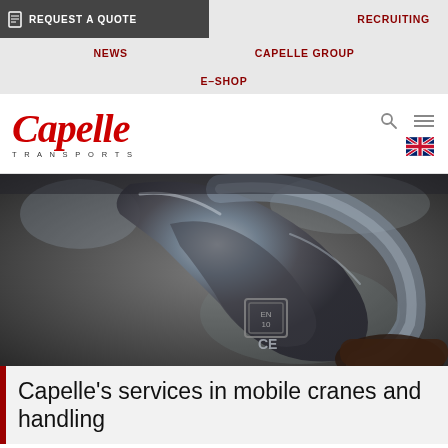REQUEST A QUOTE | RECRUITING | NEWS | CAPELLE GROUP | E-SHOP
[Figure (logo): Capelle Transports logo in red italic script with TRANSPORTS in small caps below]
[Figure (photo): Close-up photograph of a metal shackle or lifting hook with stamped CE marking and EN 10 certification, held in a person's hand, blurred background]
Capelle's services in mobile cranes and handling